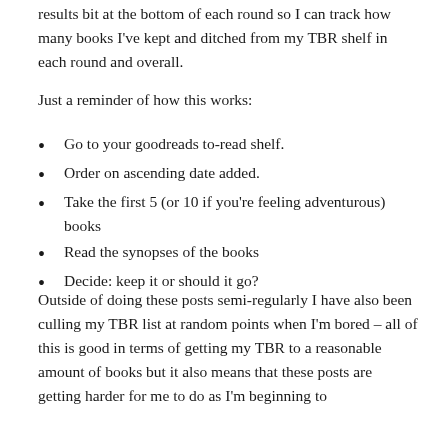results bit at the bottom of each round so I can track how many books I've kept and ditched from my TBR shelf in each round and overall.
Just a reminder of how this works:
Go to your goodreads to-read shelf.
Order on ascending date added.
Take the first 5 (or 10 if you're feeling adventurous) books
Read the synopses of the books
Decide: keep it or should it go?
Outside of doing these posts semi-regularly I have also been culling my TBR list at random points when I'm bored – all of this is good in terms of getting my TBR to a reasonable amount of books but it also means that these posts are getting harder for me to do as I'm beginning to